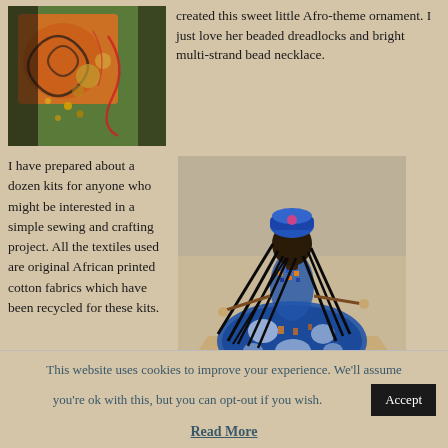[Figure (photo): Close-up photo of orange and black African-print fabric with beads and craft materials on a green surface.]
created this sweet little Afro-theme ornament. I just love her beaded dreadlocks and bright multi-strand bead necklace.
I have prepared about a dozen kits for anyone who might be interested in a simple sewing and crafting project. All the textiles used are original African printed cotton fabrics which have been recycled for these kits.
[Figure (photo): Photo of a handmade African-themed doll ornament with blue and white African-print fabric dress, black yarn dreadlocks, and beaded accessories, sitting on a cardboard surface.]
This website uses cookies to improve your experience. We'll assume you're ok with this, but you can opt-out if you wish.
Accept
Read More